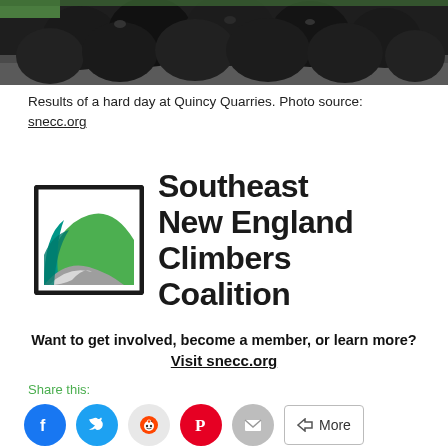[Figure (photo): Black trash bags piled up at Quincy Quarries, partial view cropped at top]
Results of a hard day at Quincy Quarries. Photo source: snecc.org
[Figure (logo): Southeast New England Climbers Coalition logo with green/teal/grey swoosh design in a square border and bold text]
Want to get involved, become a member, or learn more? Visit snecc.org
Share this: